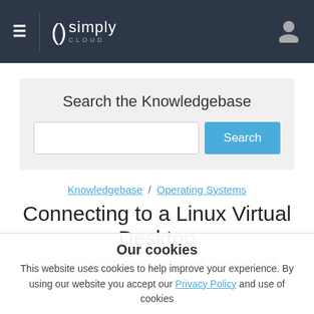simply cloud — navigation bar with hamburger menu and user icon
Search the Knowledgebase
Knowledgebase / Operating Systems
Connecting to a Linux Virtual Desktop
This document will take you through the process of connecting to a Linux virtual desktop and instruct you on how to:
Our cookies
This website uses cookies to help improve your experience. By using our website you accept our Privacy Policy and use of cookies